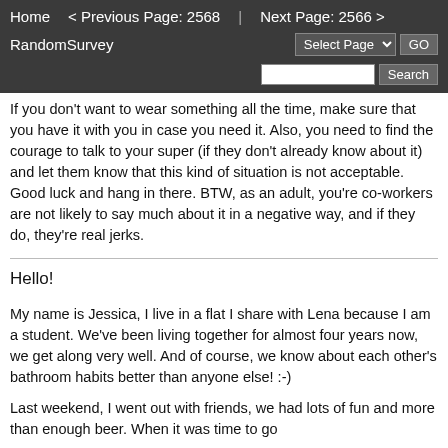Home   < Previous Page: 2568  |  Next Page: 2566 >   Random   Survey   Select Page ▾  GO   Search
If you don't want to wear something all the time, make sure that you have it with you in case you need it. Also, you need to find the courage to talk to your super (if they don't already know about it) and let them know that this kind of situation is not acceptable. Good luck and hang in there. BTW, as an adult, you're co-workers are not likely to say much about it in a negative way, and if they do, they're real jerks.
Hello!
My name is Jessica, I live in a flat I share with Lena because I am a student. We've been living together for almost four years now, we get along very well. And of course, we know about each other's bathroom habits better than anyone else! :-)
Last weekend, I went out with friends, we had lots of fun and more than enough beer. When it was time to go